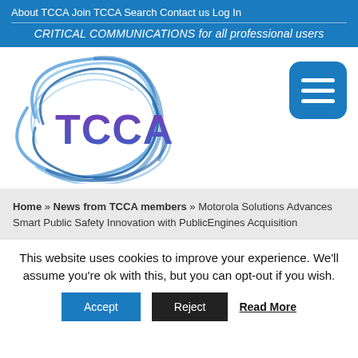About TCCA  Join TCCA  Search  Contact us  Log In
CRITICAL COMMUNICATIONS for all professional users
[Figure (logo): TCCA logo with blue swirling lines and purple TCCA text]
Home » News from TCCA members » Motorola Solutions Advances Smart Public Safety Innovation with PublicEngines Acquisition
This website uses cookies to improve your experience. We'll assume you're ok with this, but you can opt-out if you wish.